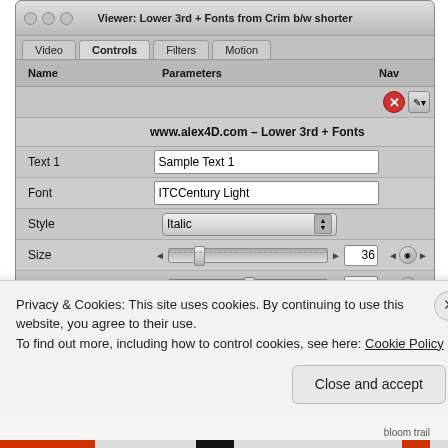[Figure (screenshot): macOS application window titled 'Viewer: Lower 3rd + Fonts from Crim b/w shorter' showing a controls panel with tabs: Video, Controls, Filters, Motion. The Controls tab is active and shows parameters including: a bold label 'www.alex4D.com - Lower 3rd + Fonts', Text 1 field with value 'Sample Text 1', Font field with 'ITCCentury Light', Style dropdown set to 'Italic', Size slider set to 36, Tracking slider set to 1, Font Color with color tools and white swatch, Text 2 field with 'Sample Text 2', Font field with 'ITC Century Book', Style dropdown set to 'Bold'.]
Privacy & Cookies: This site uses cookies. By continuing to use this website, you agree to their use.
To find out more, including how to control cookies, see here: Cookie Policy
Close and accept